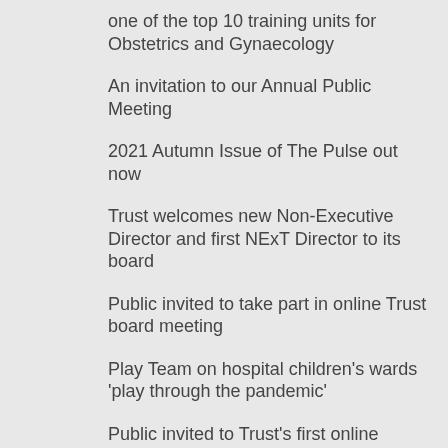one of the top 10 training units for Obstetrics and Gynaecology
An invitation to our Annual Public Meeting
2021 Autumn Issue of The Pulse out now
Trust welcomes new Non-Executive Director and first NExT Director to its board
Public invited to take part in online Trust board meeting
Play Team on hospital children's wards 'play through the pandemic'
Public invited to Trust's first online Members' Meeting